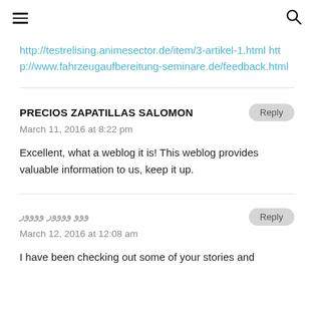≡  🔍
http://testrelising.animesector.de/item/3-artikel-1.html http://www.fahrzeugaufbereitung-seminare.de/feedback.html
PRECIOS ZAPATILLAS SALOMON
March 11, 2016 at 8:22 pm
Excellent, what a weblog it is! This weblog provides valuable information to us, keep it up.
ووو وووور وووور
March 12, 2016 at 12:08 am
I have been checking out some of your stories and